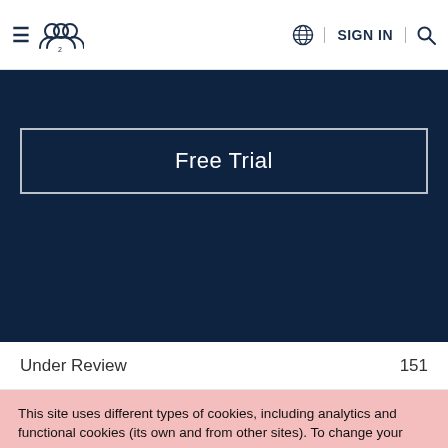≡ [users icon] | SIGN IN [globe] [search]
[Figure (screenshot): Dark navy blue banner background with Free Trial button in center]
Free Trial
Under Review    151
This site uses different types of cookies, including analytics and functional cookies (its own and from other sites). To change your cookie settings or find out more, click here. If you continue browsing our website, you accept these cookies.
I AGREE   LEARN MORE   Reject